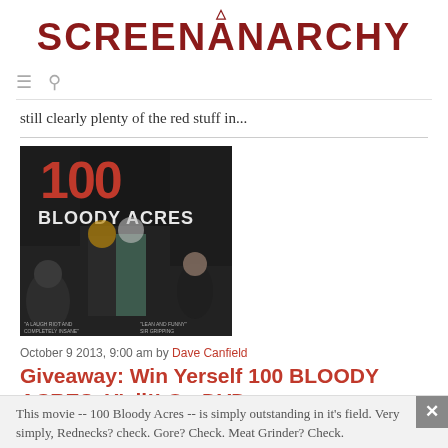SCREENANARCHY
[Figure (logo): ScreenAnarchy logo in dark red/maroon bold uppercase serif text with a small anarchy symbol above the A]
still clearly plenty of the red stuff in...
[Figure (photo): Movie poster for '100 Bloody Acres' showing three characters in a dark industrial setting with large red '100' text at top]
October 9 2013, 9:00 am by Dave Canfield
Giveaway: Win Yerself 100 BLOODY ACRES, Y'all!! On DVD.
This movie -- 100 Bloody Acres -- is simply outstanding in it's field. Very simply, Rednecks? check. Gore? Check. Meat Grinder? Check.